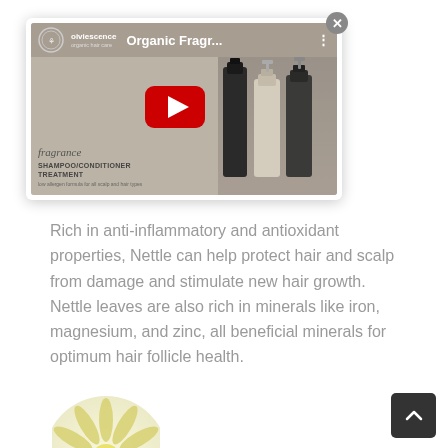[Figure (screenshot): YouTube video thumbnail for 'Organic Fragr...' showing hair care products (shampoo, conditioner, treatment bottles) with a red play button, a close (×) button in the top right corner, and a brand logo/text overlay.]
Rich in anti-inflammatory and antioxidant properties, Nettle can help protect hair and scalp from damage and stimulate new hair growth. Nettle leaves are also rich in minerals like iron, magnesium, and zinc, all beneficial minerals for optimum hair follicle health.
[Figure (illustration): Partial circular illustration of a yellow/green flower or dandelion, cropped at the bottom of the page.]